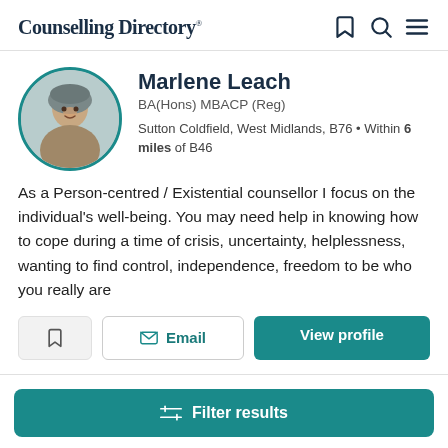Counselling Directory
[Figure (photo): Profile photo of Marlene Leach, circular crop with teal border]
Marlene Leach
BA(Hons) MBACP (Reg)
Sutton Coldfield, West Midlands, B76 • Within 6 miles of B46
As a Person-centred / Existential counsellor I focus on the individual's well-being. You may need help in knowing how to cope during a time of crisis, uncertainty, helplessness, wanting to find control, independence, freedom to be who you really are
Filter results